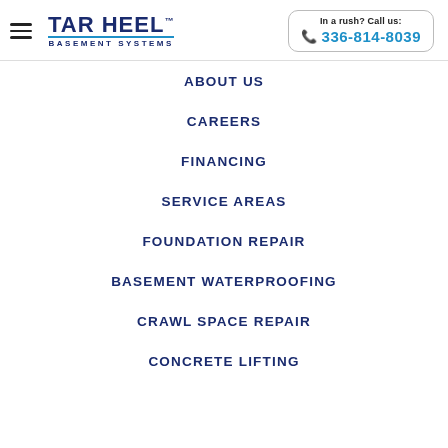[Figure (logo): Tar Heel Basement Systems logo with hamburger menu icon]
In a rush? Call us: 336-814-8039
ABOUT US
CAREERS
FINANCING
SERVICE AREAS
FOUNDATION REPAIR
BASEMENT WATERPROOFING
CRAWL SPACE REPAIR
CONCRETE LIFTING